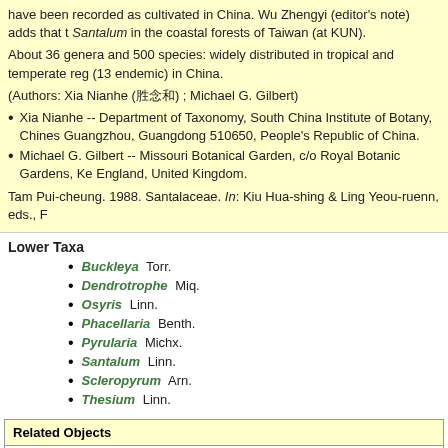have been recorded as cultivated in China. Wu Zhengyi (editor's note) adds that there is a specimen of Santalum in the coastal forests of Taiwan (at KUN).
About 36 genera and 500 species: widely distributed in tropical and temperate regions; about 14 genera (13 endemic) in China.
(Authors: Xia Nianhe (夏念和) ; Michael G. Gilbert)
Xia Nianhe -- Department of Taxonomy, South China Institute of Botany, Chinese Academy of Sciences, Guangzhou, Guangdong 510650, People's Republic of China.
Michael G. Gilbert -- Missouri Botanical Garden, c/o Royal Botanic Gardens, Kew, Richmond, Surrey, England, United Kingdom.
Tam Pui-cheung. 1988. Santalaceae. In: Kiu Hua-shing & Ling Yeou-ruenn, eds., F...
Lower Taxa
Buckleya Torr.
Dendrotrophe Miq.
Osyris Linn.
Phacellaria Benth.
Pyrularia Michx.
Santalum Linn.
Scleropyrum Arn.
Thesium Linn.
Related Objects
Flora of China
PDF File